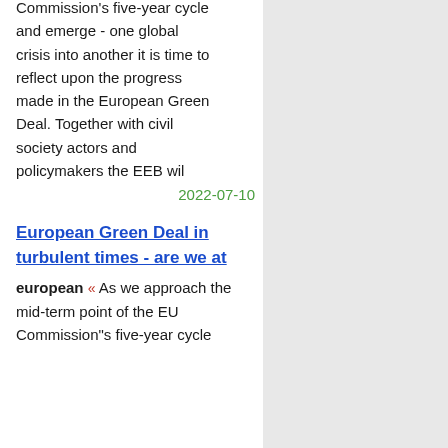Commission's five-year cycle and emerge - one global crisis into another it is time to reflect upon the progress made in the European Green Deal. Together with civil society actors and policymakers the EEB wil
2022-07-10
European Green Deal in turbulent times - are we at
european « As we approach the mid-term point of the EU Commission"s five-year cycle